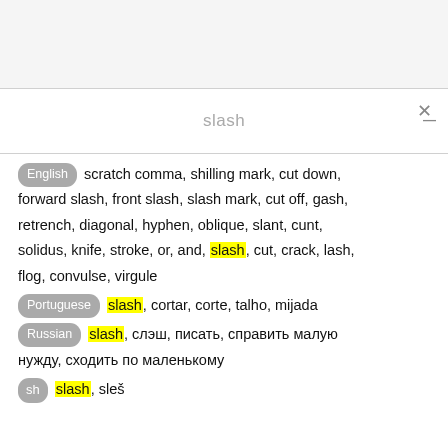[Figure (screenshot): Search bar UI showing 'slash' query text in gray, with an X close button and minus button on the right side]
English scratch comma, shilling mark, cut down, forward slash, front slash, slash mark, cut off, gash, retrench, diagonal, hyphen, oblique, slant, cunt, solidus, knife, stroke, or, and, slash, cut, crack, lash, flog, convulse, virgule
Portuguese slash, cortar, corte, talho, mijada
Russian slash, слэш, писать, справить малую нужду, сходить по маленькому
sh slash, sleš